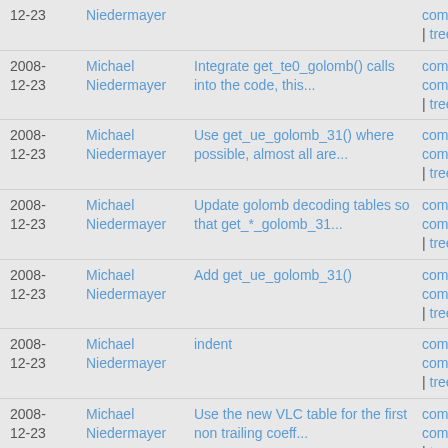| Date | Author | Message | Links |
| --- | --- | --- | --- |
| 2008-12-23 | Michael Niedermayer |  | commitdiff | tree |
| 2008-12-23 | Michael Niedermayer | Integrate get_te0_golomb() calls into the code, this... | commit | commitdiff | tree |
| 2008-12-23 | Michael Niedermayer | Use get_ue_golomb_31() where possible, almost all are... | commit | commitdiff | tree |
| 2008-12-23 | Michael Niedermayer | Update golomb decoding tables so that get_*_golomb_31... | commit | commitdiff | tree |
| 2008-12-23 | Michael Niedermayer | Add get_ue_golomb_31() | commit | commitdiff | tree |
| 2008-12-23 | Michael Niedermayer | indent | commit | commitdiff | tree |
| 2008-12-23 | Michael Niedermayer | Use the new VLC table for the first non trailing coeff... | commit | commitdiff | tree |
| 2008-12-23 | Michael Niedermayer | Optimize esc removal code. | commit | |